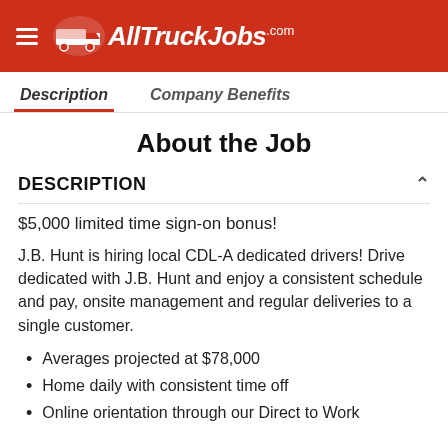AllTruckJobs.com
Description | Company Benefits
About the Job
DESCRIPTION
$5,000 limited time sign-on bonus!
J.B. Hunt is hiring local CDL-A dedicated drivers! Drive dedicated with J.B. Hunt and enjoy a consistent schedule and pay, onsite management and regular deliveries to a single customer.
Averages projected at $78,000
Home daily with consistent time off
Online orientation through our Direct to Work